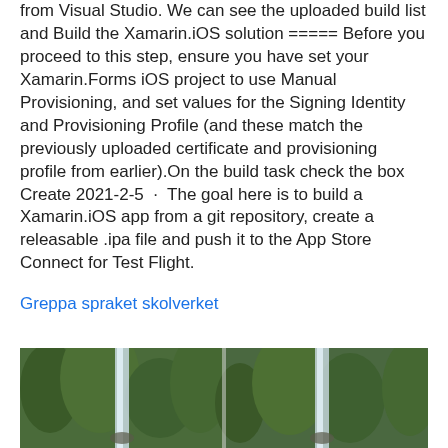from Visual Studio. We can see the uploaded build list and Build the Xamarin.iOS solution ===== Before you proceed to this step, ensure you have set your Xamarin.Forms iOS project to use Manual Provisioning, and set values for the Signing Identity and Provisioning Profile (and these match the previously uploaded certificate and provisioning profile from earlier).On the build task check the box Create 2021-2-5 · The goal here is to build a Xamarin.iOS app from a git repository, create a releasable .ipa file and push it to the App Store Connect for Test Flight.
Greppa spraket skolverket
[Figure (photo): Photo of a waterfall in a lush green forested canyon, split into two panels side by side.]